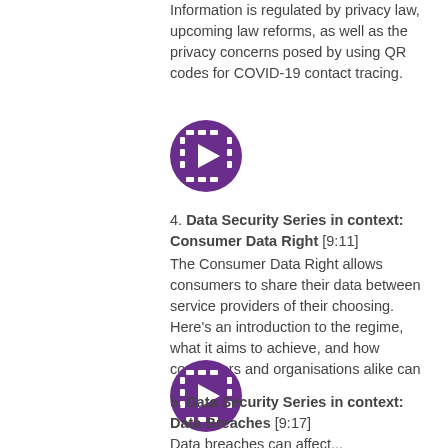Information is regulated by privacy law, upcoming law reforms, as well as the privacy concerns posed by using QR codes for COVID-19 contact tracing.
[Figure (illustration): Purple circle icon with a film/video play button symbol inside]
4. Data Security Series in context: Consumer Data Right [9:11] The Consumer Data Right allows consumers to share their data between service providers of their choosing. Here's an introduction to the regime, what it aims to achieve, and how consumers and organisations alike can navigate it.
[Figure (illustration): Purple circle icon with a film/video play button symbol inside]
5. Data Security Series in context: Data Breaches [9:17] Data breaches can affect...